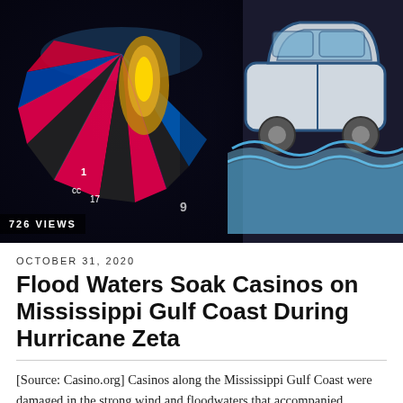[Figure (photo): Composite image: left side shows a colorful roulette wheel with bright pink, blue and orange segments under dramatic lighting; right side shows a cartoon/illustration of a car submerged in flood waters with blue waves]
726 VIEWS
OCTOBER 31, 2020
Flood Waters Soak Casinos on Mississippi Gulf Coast During Hurricane Zeta
[Source: Casino.org] Casinos along the Mississippi Gulf Coast were damaged in the strong wind and floodwaters that accompanied Hurricane Zeta, as the… Keep Reading